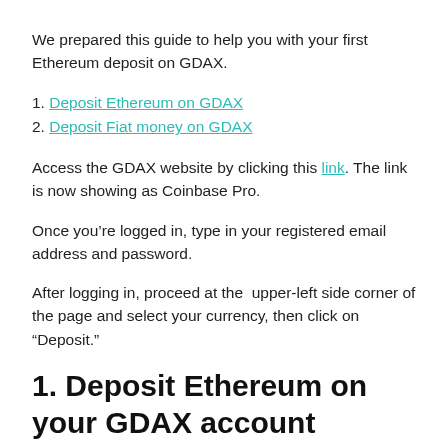We prepared this guide to help you with your first Ethereum deposit on GDAX.
1. Deposit Ethereum on GDAX
2. Deposit Fiat money on GDAX
Access the GDAX website by clicking this link. The link is now showing as Coinbase Pro.
Once you’re logged in, type in your registered email address and password.
After logging in, proceed at the  upper-left side corner of the page and select your currency, then click on “Deposit.”
1. Deposit Ethereum on your GDAX account
To deposit Ethereum on your GDAX account, select